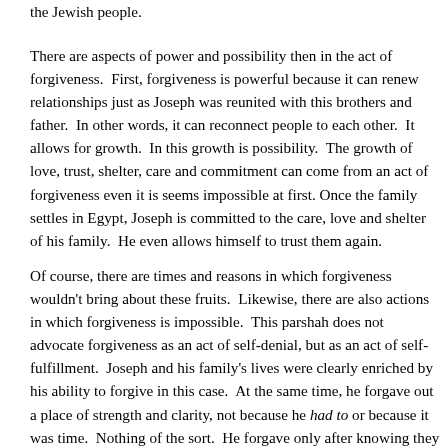the Jewish people.
There are aspects of power and possibility then in the act of forgiveness.  First, forgiveness is powerful because it can renew relationships just as Joseph was reunited with this brothers and father.  In other words, it can reconnect people to each other.  It allows for growth.  In this growth is possibility.  The growth of love, trust, shelter, care and commitment can come from an act of forgiveness even it is seems impossible at first. Once the family settles in Egypt, Joseph is committed to the care, love and shelter of his family.  He even allows himself to trust them again.
Of course, there are times and reasons in which forgiveness wouldn't bring about these fruits.  Likewise, there are also actions in which forgiveness is impossible.  This parshah does not advocate forgiveness as an act of self-denial, but as an act of self-fulfillment.  Joseph and his family's lives were clearly enriched by his ability to forgive in this case.  At the same time, he forgave out a place of strength and clarity, not because he had to or because it was time.  Nothing of the sort.  He forgave only after knowing they had changed.  In addition, he forgave them out of love and concern for himself (he missed his father).